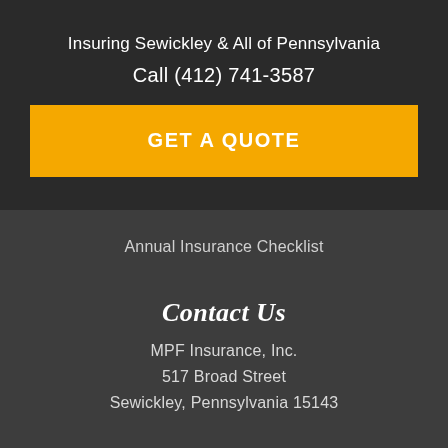Insuring Sewickley & All of Pennsylvania
Call (412) 741-3587
GET A QUOTE
Annual Insurance Checklist
Contact Us
MPF Insurance, Inc.
517 Broad Street
Sewickley, Pennsylvania 15143